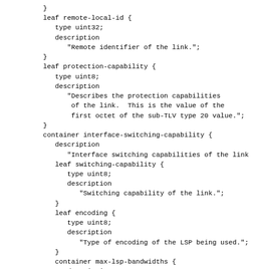}
leaf remote-local-id {
   type uint32;
   description
      "Remote identifier of the link.";
}
leaf protection-capability {
   type uint8;
   description
      "Describes the protection capabilities
       of the link.  This is the value of the
       first octet of the sub-TLV type 20 value.";
}
container interface-switching-capability {
   description
      "Interface switching capabilities of the link
   leaf switching-capability {
      type uint8;
      description
         "Switching capability of the link.";
   }
   leaf encoding {
      type uint8;
      description
         "Type of encoding of the LSP being used.";
   }
   container max-lsp-bandwidths {
      description
         "Per-priority maximum LSP bandwidths.";
      list max-lsp-bandwidth {